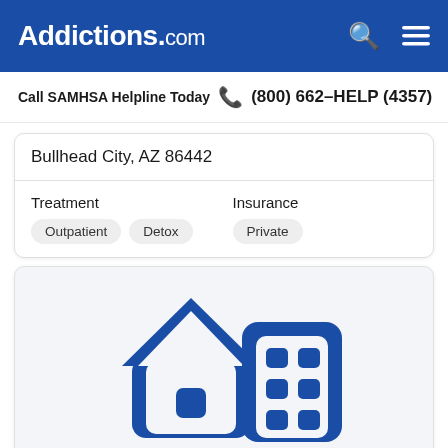Addictions.com
Call SAMHSA Helpline Today  (800) 662-HELP (4357)
Bullhead City, AZ 86442
| Treatment | Insurance |
| --- | --- |
| Outpatient  Detox | Private |
[Figure (illustration): Blue icon illustration of a house and a multi-story building with windows, representing treatment facility or housing]